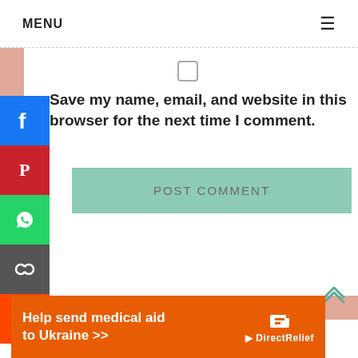MENU
[Figure (screenshot): Checkbox icon (unchecked square)]
Save my name, email, and website in this browser for the next time I comment.
[Figure (infographic): Social media share buttons sidebar: Facebook (blue), Pinterest (red), WhatsApp (green), Copy link (gray), Reddit (orange-red)]
[Figure (screenshot): POST COMMENT button in muted green]
[Figure (screenshot): Up/back-to-top double chevron arrow icon]
[Figure (screenshot): Orange advertisement banner: Help send medical aid to Ukraine >> DirectRelief logo]